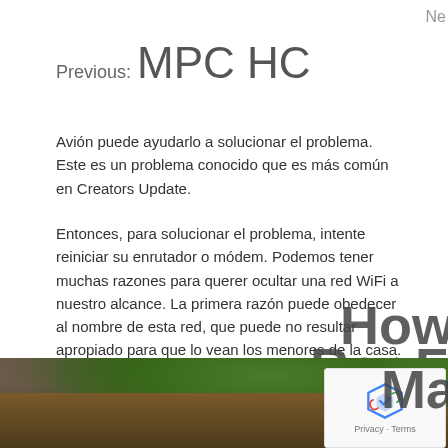Ne
Previous: MPC HC
Avión puede ayudarlo a solucionar el problema. Este es un problema conocido que es más común en Creators Update.
Entonces, para solucionar el problema, intente reiniciar su enrutador o módem. Podemos tener muchas razones para querer ocultar una red WiFi a nuestro alcance. La primera razón puede obedecer al nombre de esta red, que puede no resultar apropiado para que lo vean los menores de la casa.
[Figure (screenshot): Overlapping navigation link text reading 'How To Ope', 'Rar Files O', 'Windows O' overlaid across the page content]
[Figure (photo): Outdoor photo showing rocky ground with green trees/foliage in background and a person's feet with orange shoes visible]
[Figure (other): Google reCAPTCHA badge with Privacy and Terms links, with 'Ma' overlay text]